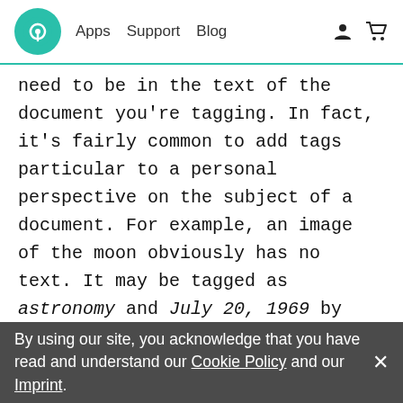Apps  Support  Blog
need to be in the text of the document you're tagging. In fact, it's fairly common to add tags particular to a personal perspective on the subject of a document. For example, an image of the moon obviously has no text. It may be tagged as astronomy and July 20, 1969 by one person but tagged nature and dreams by another. In this way, the tags are meaningful to each person individually. Both are valid and useful to each person who tagged it. However, if you're in a collaborative or work situation, you'd want to make sure everyone is working with a well-defined and controlled set of tags. Tags are an optional but powerful tool for many. For
By using our site, you acknowledge that you have read and understand our Cookie Policy and our Imprint. ×